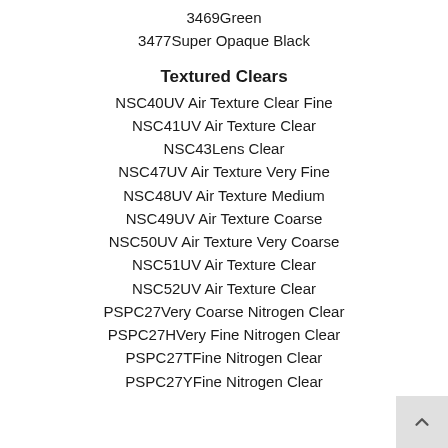3469Green
3477Super Opaque Black
Textured Clears
NSC40UV Air Texture Clear Fine
NSC41UV Air Texture Clear
NSC43Lens Clear
NSC47UV Air Texture Very Fine
NSC48UV Air Texture Medium
NSC49UV Air Texture Coarse
NSC50UV Air Texture Very Coarse
NSC51UV Air Texture Clear
NSC52UV Air Texture Clear
PSPC27Very Coarse Nitrogen Clear
PSPC27HVery Fine Nitrogen Clear
PSPC27TFine Nitrogen Clear
PSPC27YFine Nitrogen Clear